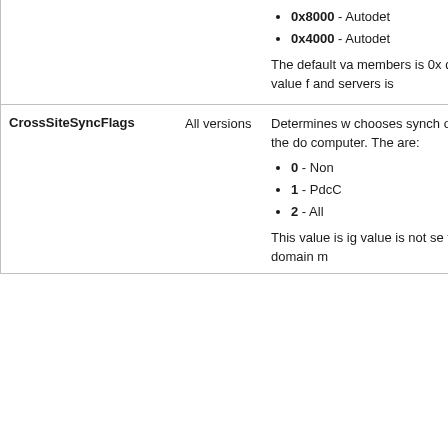| Name | Version | Description |
| --- | --- | --- |
| (continued) |  | • 0x8000 - Autodet...
• 0x4000 - Autodet...

The default va... members is 0x... default value f... and servers is |
| CrossSiteSyncFlags | All versions | Determines w... chooses synch... outside the do... computer. The... are:
• 0 - Non...
• 1 - PdcC...
• 2 - All

This value is ig... value is not se... for domain m... |